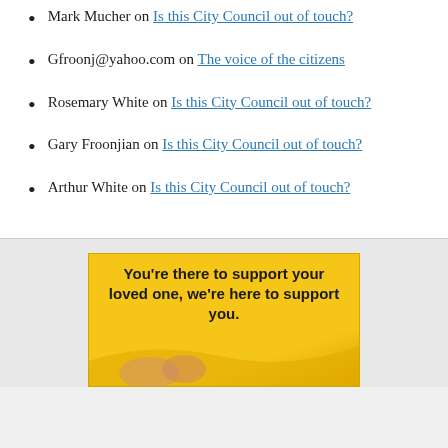Mark Mucher on Is this City Council out of touch?
Gfroonj@yahoo.com on The voice of the citizens
Rosemary White on Is this City Council out of touch?
Gary Froonjian on Is this City Council out of touch?
Arthur White on Is this City Council out of touch?
[Figure (infographic): Advertisement banner with yellow/gold background. Bold black text reads: "You're there to support your loved one, we're here to support you." with a decorative wave design and partial image of people at the bottom.]